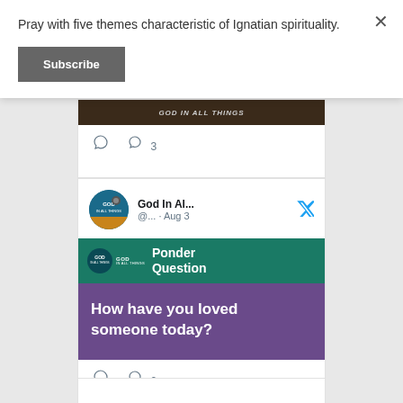Pray with five themes characteristic of Ignatian spirituality.
[Figure (screenshot): Subscribe button (dark gray)]
[Figure (screenshot): Partial tweet card showing 'GOD IN ALL THINGS' image with like count 3]
[Figure (screenshot): Tweet from 'God In Al...' @... Aug 3 with Twitter bird icon, showing Ponder Question card: 'How have you loved someone today?' with teal header and purple body, like count 2]
[Figure (screenshot): Partial bottom of another tweet card]